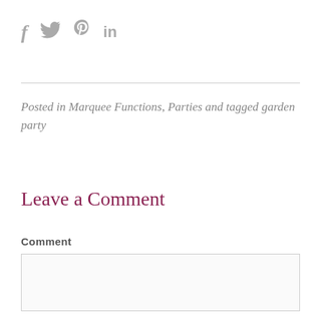[Figure (other): Social media share icons: Facebook (f), Twitter (bird), Pinterest (P), LinkedIn (in)]
Posted in Marquee Functions, Parties and tagged garden party
Leave a Comment
Comment
[Figure (other): Empty comment text area input box]